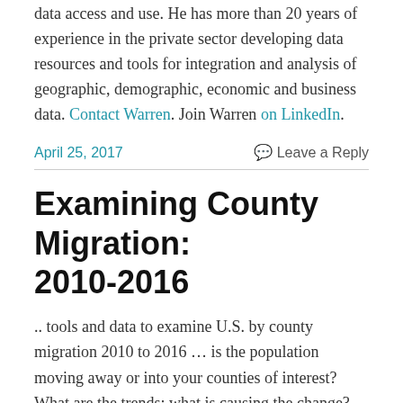data access and use. He has more than 20 years of experience in the private sector developing data resources and tools for integration and analysis of geographic, demographic, economic and business data. Contact Warren. Join Warren on LinkedIn.
April 25, 2017   Leave a Reply
Examining County Migration: 2010-2016
.. tools and data to examine U.S. by county migration 2010 to 2016 … is the population moving away or into your counties of interest? What are the trends; what is causing the change? What are the characteristics of the population moving in and out? How might this impact your living